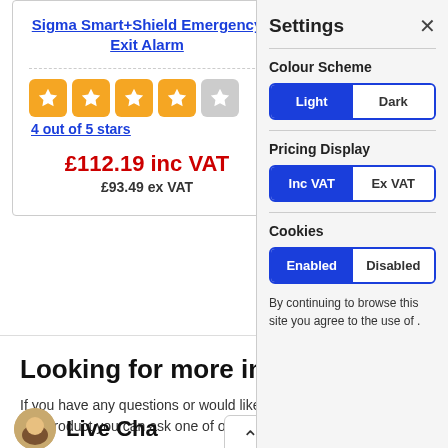Sigma Smart+Shield Emergency Exit Alarm
4 out of 5 stars
£112.19 inc VAT
£93.49 ex VAT
Looking for more inform
If you have any questions or would like this product you can ask one of our spe
Live Cha
Settings
Colour Scheme
Light | Dark
Pricing Display
Inc VAT | Ex VAT
Cookies
Enabled | Disabled
By continuing to browse this site you agree to the use of .